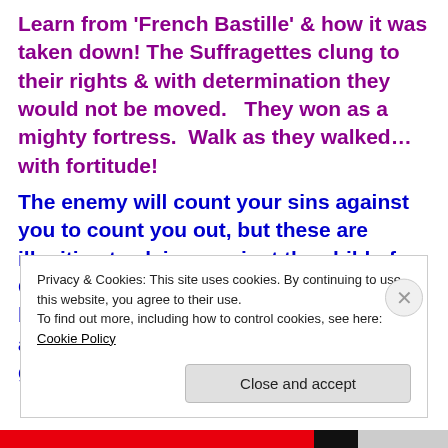Learn from 'French Bastille' & how it was taken down! The Suffragettes clung to their rights & with determination they would not be moved.   They won as a mighty fortress.  Walk as they walked… with fortitude!
The enemy will count your sins against you to count you out, but these are illegitimate claims against the child of God who must remain resolute.   He will belittle you & put doubt in your mind about who you are as though your grounds are weak.   He seeks to
Privacy & Cookies: This site uses cookies. By continuing to use this website, you agree to their use.
To find out more, including how to control cookies, see here: Cookie Policy
Close and accept